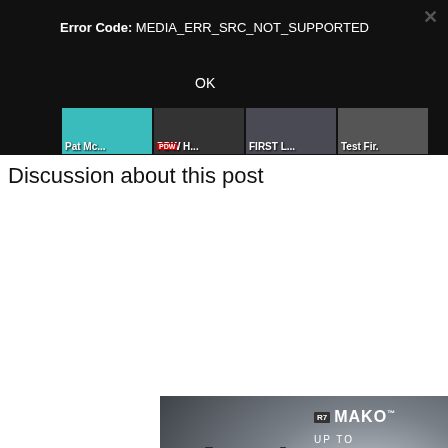[Figure (screenshot): Video player error dialog on dark background showing 'Error Code: MEDIA_ERR_SRC_NOT_SUPPORTED' with an OK button and an X close icon. Below are four video thumbnails labeled 'Pat Mc...', 'PDW H...', 'FIRST L...', and 'Test Fir.']
Discussion about this post
[Figure (photo): Advertisement for Kimber R7 MAKO pistol offering up to $100 credit with purchase. Shows a black handgun on the left, with 'R7 MAKO' branding, 'UP TO $100 CREDIT WITH PURCHASE' text in blue, and a 'GET YOURS >' button. Kimber logo in script at bottom left.]